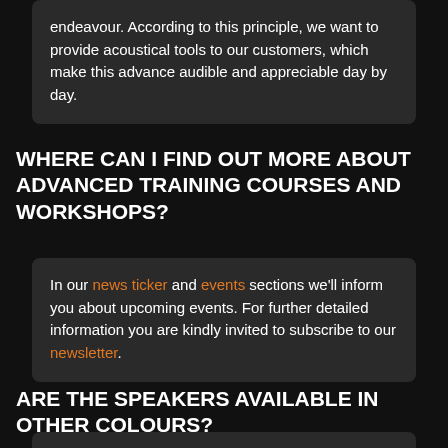endeavour. According to this principle, we want to provide acoustical tools to our customers, which make this advance audible and appreciable day by day.
WHERE CAN I FIND OUT MORE ABOUT ADVANCED TRAINING COURSES AND WORKSHOPS?
In our news ticker and events sections we'll inform you about upcoming events. For further detailed information you are kindly invited to subscribe to our newsletter.
ARE THE SPEAKERS AVAILABLE IN OTHER COLOURS?